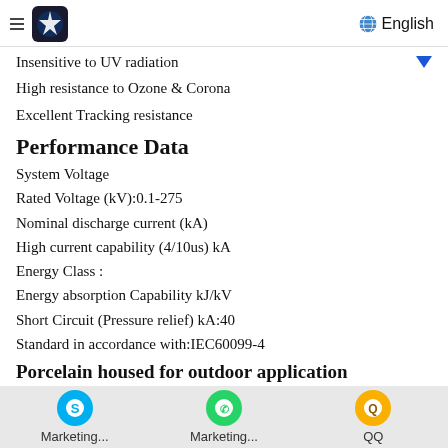English
Insensitive to UV radiation
High resistance to Ozone & Corona
Excellent Tracking resistance
Performance Data
System Voltage
Rated Voltage (kV):0.1-275
Nominal discharge current (kA)
High current capability (4/10us) kA
Energy Class :
Energy absorption Capability kJ/kV
Short Circuit (Pressure relief) kA:40
Standard in accordance with:IEC60099-4
Porcelain housed for outdoor application
[Figure (photo): Outdoor power lines and pylons against a cloudy sky]
Marketing... | Marketing... | QQ